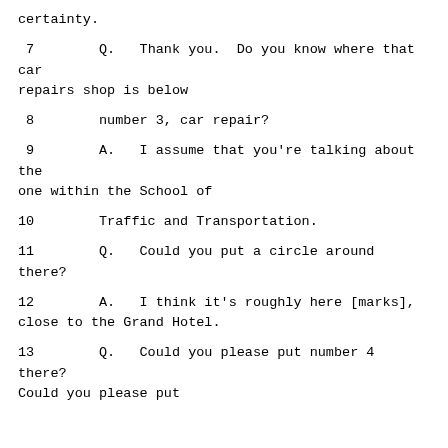certainty.
7        Q.   Thank you.  Do you know where that car repairs shop is below
8        number 3, car repair?
9        A.   I assume that you're talking about the one within the School of
10        Traffic and Transportation.
11        Q.   Could you put a circle around there?
12        A.   I think it's roughly here [marks], close to the Grand Hotel.
13        Q.   Could you please put number 4 there? Could you please put